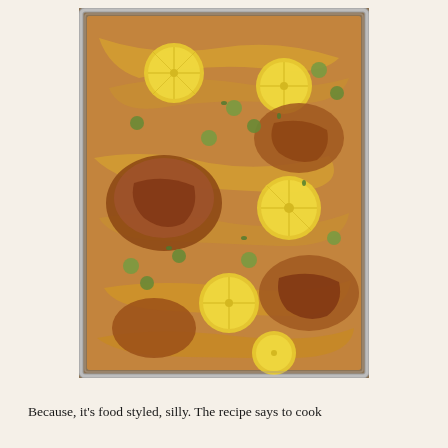[Figure (photo): Overhead view of a baking sheet pan containing roasted chicken pieces with caramelized onions, green olives, and sliced lemons in a golden-orange sauce, photographed from above on a wooden surface.]
Because, it's food styled, silly. The recipe says to cook